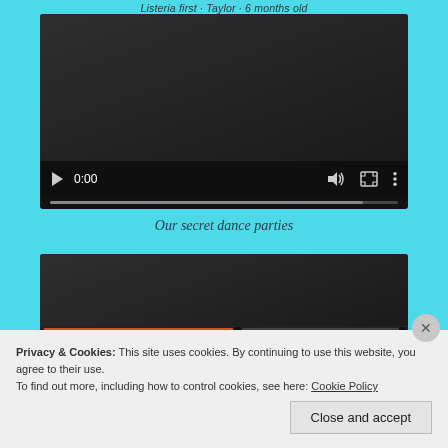Listeria first · Taylor · 6 months old
[Figure (screenshot): Video player showing a dark/black video frame with playback controls at the bottom: play button, time display 0:00, volume icon, fullscreen icon, and more options icon. A progress bar runs across the bottom.]
Our secret dance parties
[Figure (screenshot): Second video player partially visible, showing dark frame and progress bar at bottom with orange/red fill.]
Privacy & Cookies: This site uses cookies. By continuing to use this website, you agree to their use.
To find out more, including how to control cookies, see here: Cookie Policy
Close and accept